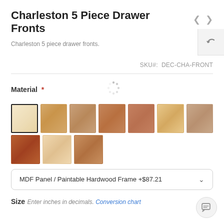Charleston 5 Piece Drawer Fronts
Charleston 5 piece drawer fronts.
SKU#: DEC-CHA-FRONT
Material *
[Figure (other): Grid of 10 wood material swatches; first swatch is selected (light cream/MDF, black border). Other swatches show various wood grain colors from light to dark.]
MDF Panel / Paintable Hardwood Frame +$87.21
Size  Enter inches in decimals.  Conversion chart